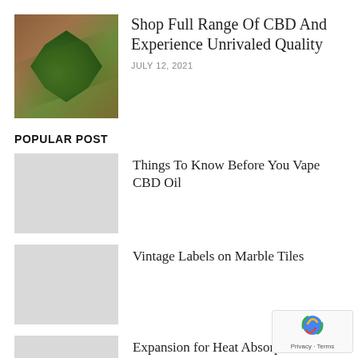[Figure (photo): Cannabis plant with green leaves and buds on a brown wooden surface]
Shop Full Range Of CBD And Experience Unrivaled Quality
JULY 12, 2021
POPULAR POST
[Figure (photo): Placeholder thumbnail image (light gray)]
Things To Know Before You Vape CBD Oil
[Figure (photo): Placeholder thumbnail image (light gray)]
Vintage Labels on Marble Tiles
[Figure (photo): Placeholder thumbnail image (light gray)]
Expansion for Heat Absorption